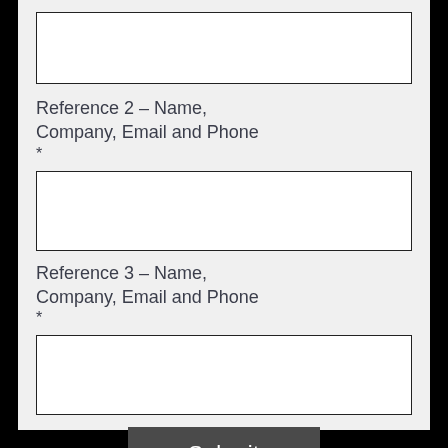[Figure (other): Empty text input field for Reference 2]
Reference 2 – Name, Company, Email and Phone
*
[Figure (other): Empty text input field for Reference 3]
Reference 3 – Name, Company, Email and Phone
*
[Figure (other): Empty text input field (third input box)]
Submit